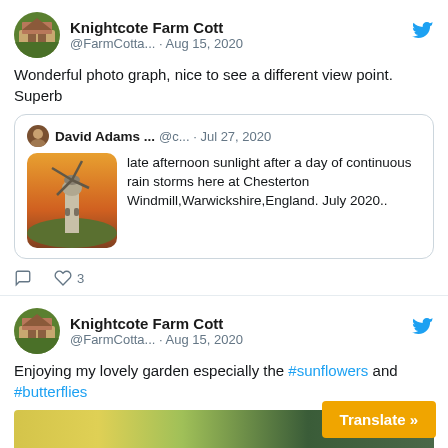[Figure (screenshot): First tweet from Knightcote Farm Cott (@FarmCotta...) dated Aug 15, 2020 with reply to David Adams quoted tweet about Chesterton Windmill]
Wonderful photo graph, nice to see a different view point. Superb
[Figure (screenshot): Quoted tweet from David Adams (@c...) dated Jul 27, 2020: late afternoon sunlight after a day of continuous rain storms here at Chesterton Windmill,Warwickshire,England. July 2020.. with windmill image]
[Figure (screenshot): Second tweet from Knightcote Farm Cott (@FarmCotta...) dated Aug 15, 2020]
Enjoying my lovely garden especially the #sunflowers and #butterflies